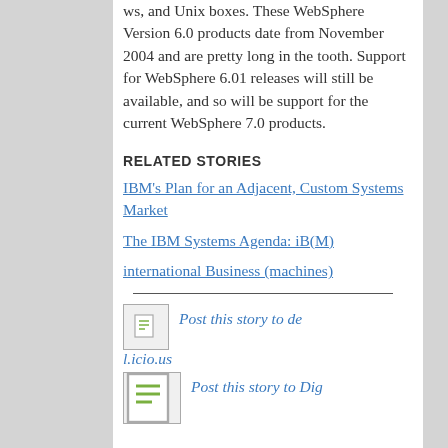ws, and Unix boxes. These WebSphere Version 6.0 products date from November 2004 and are pretty long in the tooth. Support for WebSphere 6.01 releases will still be available, and so will be support for the current WebSphere 7.0 products.
RELATED STORIES
IBM's Plan for an Adjacent, Custom Systems Market
The IBM Systems Agenda: iB(M)
international Business (machines)
[Figure (other): Small document icon for social sharing]
Post this story to del.icio.us
[Figure (other): Small document icon for social sharing]
Post this story to Dig